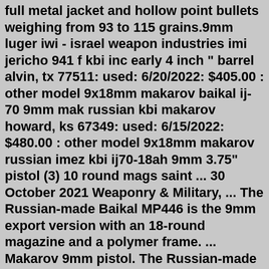full metal jacket and hollow point bullets weighing from 93 to 115 grains.9mm luger iwi - israel weapon industries imi jericho 941 f kbi inc early 4 inch " barrel alvin, tx 77511: used: 6/20/2022: $405.00 : other model 9x18mm makarov baikal ij-70 9mm mak russian kbi makarov howard, ks 67349: used: 6/15/2022: $480.00 : other model 9x18mm makarov russian imez kbi ij70-18ah 9mm 3.75" pistol (3) 10 round mags saint ... 30 October 2021 Weaponry & Military, ... The Russian-made Baikal MP446 is the 9mm export version with an 18-round magazine and a polymer frame. ... Makarov 9mm pistol. The Russian-made Makarov semi-automatic 9mm pistol was introduced in 1951 and is still in use around the world. It is a medium-size pistol that uses a straight blowback action.9mm luger iwi - israel weapon industries imi jericho 941 f kbi inc early 4 inch " barrel alvin, tx 77511: used: 6/20/2022: $405.00 : other model 9x18mm makarov baikal ij-70 9mm mak russian kbi makarov howard, ks 67349: used: 6/15/2022: $480.00 : other model 9x18mm makarov